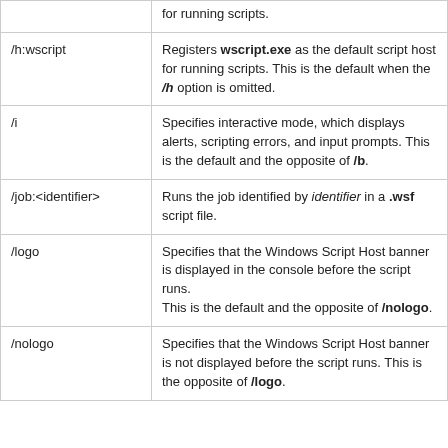| Option | Description |
| --- | --- |
|  | for running scripts. |
| /h:wscript | Registers wscript.exe as the default script host for running scripts. This is the default when the /h option is omitted. |
| /i | Specifies interactive mode, which displays alerts, scripting errors, and input prompts. This is the default and the opposite of /b. |
| /job:<identifier> | Runs the job identified by identifier in a .wsf script file. |
| /logo | Specifies that the Windows Script Host banner is displayed in the console before the script runs.
This is the default and the opposite of /nologo. |
| /nologo | Specifies that the Windows Script Host banner is not displayed before the script runs. This is the opposite of /logo. |